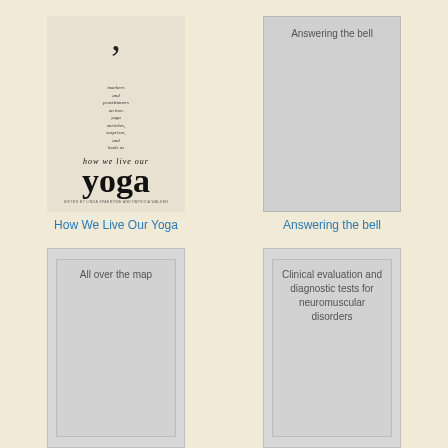[Figure (illustration): Book cover for 'How We Live Our Yoga' showing a swirl/comma design at top, small italic text about teachers and practitioners, and large serif 'yoga' title on cream background]
How We Live Our Yoga
[Figure (illustration): Placeholder gray book cover with text 'Answering the bell' centered at top]
Answering the bell
[Figure (illustration): Placeholder gray book cover with text 'All over the map' centered at top]
[Figure (illustration): Placeholder gray book cover with text 'Clinical evaluation and diagnostic tests for neuromuscular disorders' centered at top]